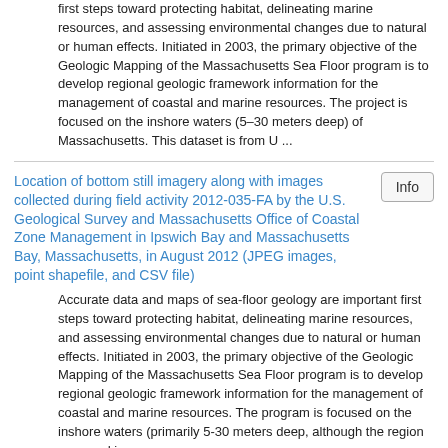first steps toward protecting habitat, delineating marine resources, and assessing environmental changes due to natural or human effects. Initiated in 2003, the primary objective of the Geologic Mapping of the Massachusetts Sea Floor program is to develop regional geologic framework information for the management of coastal and marine resources. The project is focused on the inshore waters (5–30 meters deep) of Massachusetts. This dataset is from U ...
Location of bottom still imagery along with images collected during field activity 2012-035-FA by the U.S. Geological Survey and Massachusetts Office of Coastal Zone Management in Ipswich Bay and Massachusetts Bay, Massachusetts, in August 2012 (JPEG images, point shapefile, and CSV file)
Accurate data and maps of sea-floor geology are important first steps toward protecting habitat, delineating marine resources, and assessing environmental changes due to natural or human effects. Initiated in 2003, the primary objective of the Geologic Mapping of the Massachusetts Sea Floor program is to develop regional geologic framework information for the management of coastal and marine resources. The program is focused on the inshore waters (primarily 5-30 meters deep, although the region surveyed in ...